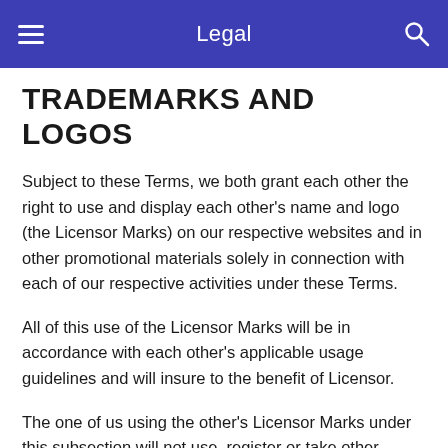Legal
TRADEMARKS AND LOGOS
Subject to these Terms, we both grant each other the right to use and display each other's name and logo (the Licensor Marks) on our respective websites and in other promotional materials solely in connection with each of our respective activities under these Terms.
All of this use of the Licensor Marks will be in accordance with each other's applicable usage guidelines and will insure to the benefit of Licensor.
The one of us using the other's Licensor Marks under this subsection will not use, register or take other action with respect to any of the Licensor Marks, except to the extent allowed in advance in writing by the one of us whose Licensor Marks are being used. In using the Licensor